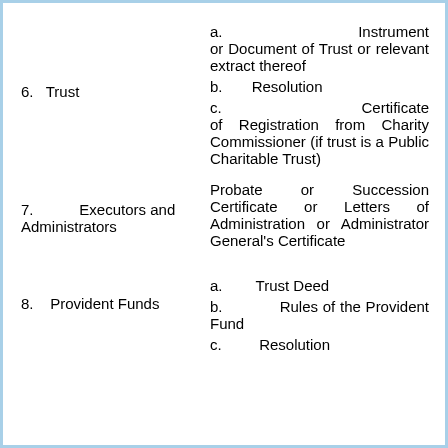6. Trust
a. Instrument or Document of Trust or relevant extract thereof
b. Resolution
c. Certificate of Registration from Charity Commissioner (if trust is a Public Charitable Trust)
7. Executors and Administrators
Probate or Succession Certificate or Letters of Administration or Administrator General's Certificate
8. Provident Funds
a. Trust Deed
b. Rules of the Provident Fund
c. Resolution